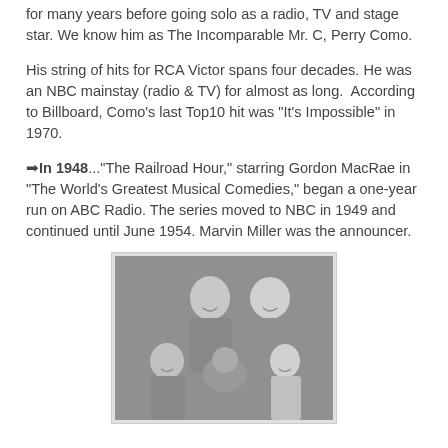for many years before going solo as a radio, TV and stage star. We know him as The Incomparable Mr. C, Perry Como.
His string of hits for RCA Victor spans four decades. He was an NBC mainstay (radio & TV) for almost as long. According to Billboard, Como's last Top10 hit was "It's Impossible" in 1970.
➡In 1948..."The Railroad Hour," starring Gordon MacRae in "The World's Greatest Musical Comedies," began a one-year run on ABC Radio. The series moved to NBC in 1949 and continued until June 1954. Marvin Miller was the announcer.
[Figure (photo): Black and white photograph of a family group with two adults (man and woman), two children, and a dog, posed together smiling.]